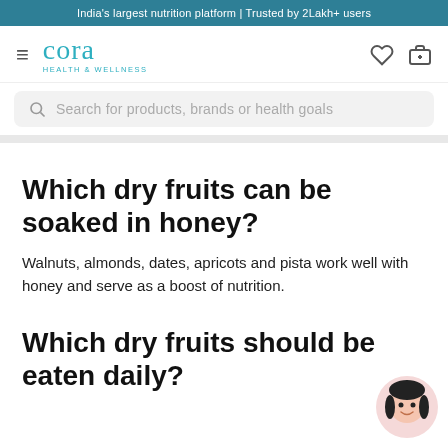India's largest nutrition platform | Trusted by 2Lakh+ users
[Figure (logo): Cora Health & Wellness logo with hamburger menu, heart icon and cart icon]
Search for products, brands or health goals
Which dry fruits can be soaked in honey?
Walnuts, almonds, dates, apricots and pista work well with honey and serve as a boost of nutrition.
Which dry fruits should be eaten daily?